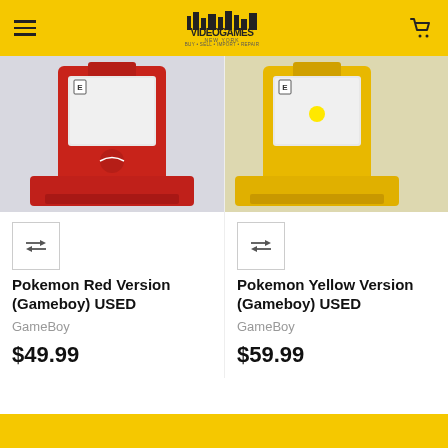Video Games New York — BUY • SELL • IMPORT • REPAIR
[Figure (photo): Pokemon Red Version Gameboy cartridge on red plastic stand against white background]
[Figure (photo): Pokemon Yellow Version Gameboy cartridge on yellow plastic stand against white background]
Pokemon Red Version (Gameboy) USED
GameBoy
$49.99
Pokemon Yellow Version (Gameboy) USED
GameBoy
$59.99